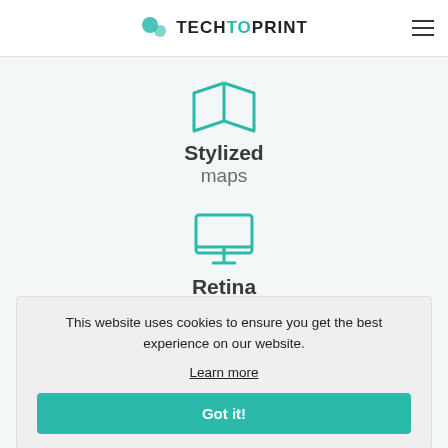TECHTOPRINT
[Figure (illustration): Teal map fold icon (open book/map outline)]
Stylized maps
[Figure (illustration): Teal desktop monitor icon]
Retina
This website uses cookies to ensure you get the best experience on our website. Learn more
Got it!
Functional